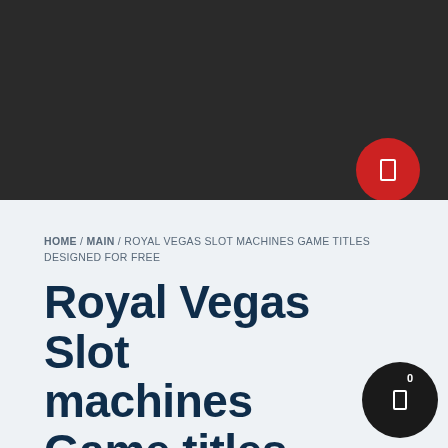[Figure (screenshot): Dark header navigation bar with a red circular button icon on the right side]
HOME / MAIN / ROYAL VEGAS SLOT MACHINES GAME TITLES DESIGNED FOR FREE
Royal Vegas Slot machines Game titles Designed for Free